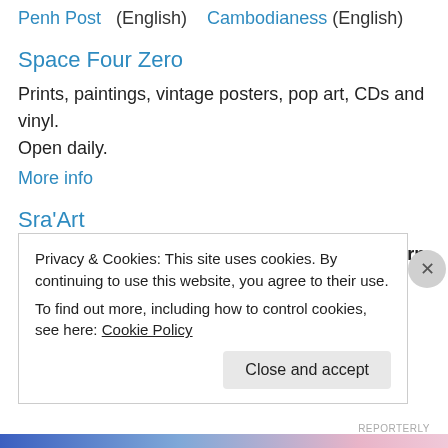Penh Post (English) Cambodianess (English)
Space Four Zero
Prints, paintings, vintage posters, pop art, CDs and vinyl. Open daily.
More info
Sra'Art
Understanding, by linocut block printing artist Morn Chea, in close collaboration with Open Studio Cambodia.   Until 9 July.
Privacy & Cookies: This site uses cookies. By continuing to use this website, you agree to their use.
To find out more, including how to control cookies, see here: Cookie Policy
Close and accept